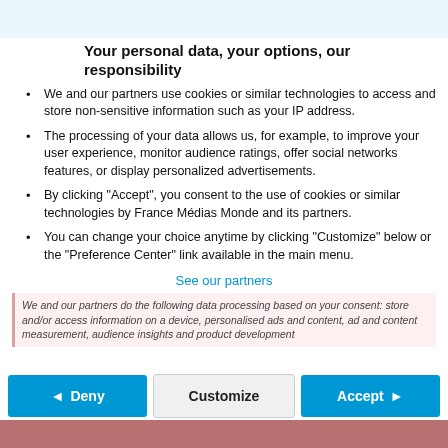[Figure (logo): France 24 logo — blue square with 'FRANCE' and '24' in white text with wave graphic]
Your personal data, your options, our responsibility
We and our partners use cookies or similar technologies to access and store non-sensitive information such as your IP address.
The processing of your data allows us, for example, to improve your user experience, monitor audience ratings, offer social networks features, or display personalized advertisements.
By clicking "Accept", you consent to the use of cookies or similar technologies by France Médias Monde and its partners.
You can change your choice anytime by clicking "Customize" below or the "Preference Center" link available in the main menu.
See our partners
We and our partners do the following data processing based on your consent: store and/or access information on a device, personalised ads and content, ad and content measurement, audience insights and product development